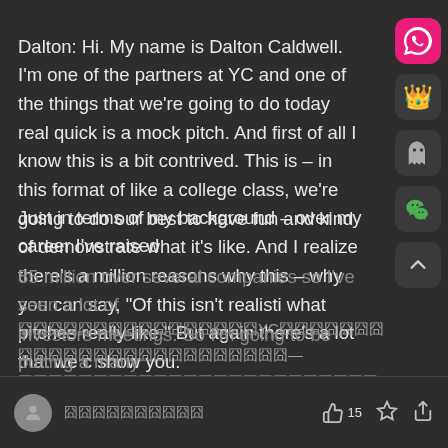Dalton: Hi. My name is Dalton Caldwell. I'm one of the partners at YC and one of the things that we're going to do today real quick is a mock pitch. And first of all I know this is a bit contrived. This is – in this format of like a college class, we're going to do our best to have fun and kind of demonstrate what it's like. And I realize there's a million reasons why this – why you can say, "Of this isn't realistic what pitches really like." But again there's a lot that we can show you.
[Chinese characters] YC [Chinese characters] —
[Chinese characters]
Just in terms of my background – over my career I've raised 85 million over several companies so I've seen a lot of investors meetings. So I'm going to be putting a many